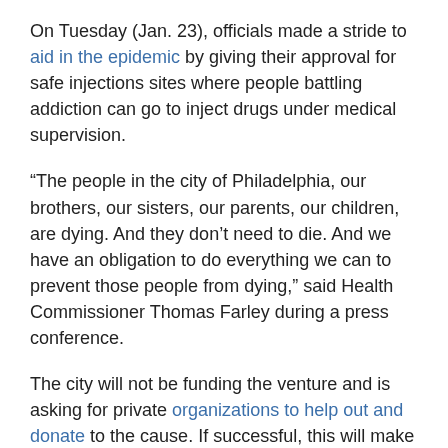On Tuesday (Jan. 23), officials made a stride to aid in the epidemic by giving their approval for safe injections sites where people battling addiction can go to inject drugs under medical supervision.
“The people in the city of Philadelphia, our brothers, our sisters, our parents, our children, are dying. And they don’t need to die. And we have an obligation to do everything we can to prevent those people from dying,” said Health Commissioner Thomas Farley during a press conference.
The city will not be funding the venture and is asking for private organizations to help out and donate to the cause. If successful, this will make the city of brotherly love the first U.S. city to implement this type of initiative.